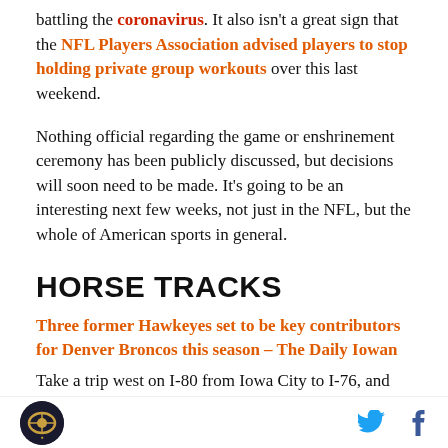battling the coronavirus. It also isn't a great sign that the NFL Players Association advised players to stop holding private group workouts over this last weekend.
Nothing official regarding the game or enshrinement ceremony has been publicly discussed, but decisions will soon need to be made. It's going to be an interesting next few weeks, not just in the NFL, but the whole of American sports in general.
HORSE TRACKS
Three former Hawkeyes set to be key contributors for Denver Broncos this season – The Daily Iowan
Take a trip west on I-80 from Iowa City to I-76, and